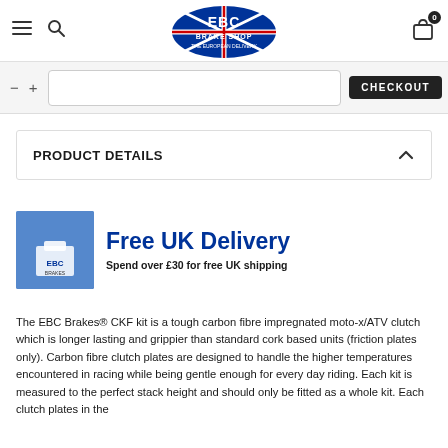EBC Brake Shop — header with navigation icons and logo
[Figure (logo): EBC Brake Shop logo with UK flag]
PRODUCT DETAILS
[Figure (infographic): Free UK Delivery banner — image of person holding EBC Brakes box on left, text 'Free UK Delivery' and 'Spend over £30 for free UK shipping' on right]
The EBC Brakes® CKF kit is a tough carbon fibre impregnated moto-x/ATV clutch which is longer lasting and grippier than standard cork based units (friction plates only). Carbon fibre clutch plates are designed to handle the higher temperatures encountered in racing while being gentle enough for every day riding. Each kit is measured to the perfect stack height and should only be fitted as a whole kit. Each clutch plates in the